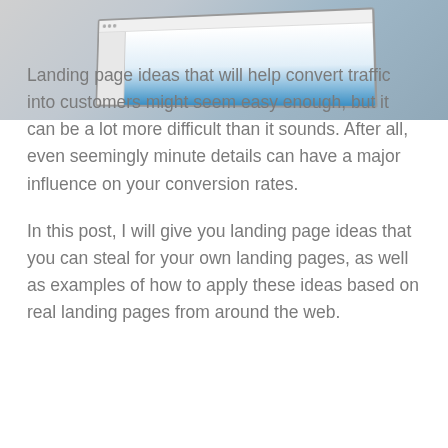[Figure (screenshot): Partial screenshot of a webpage or digital device display showing a colorful landing page with navigation and imagery, viewed at an angle]
Landing page ideas that will help convert traffic into customers might seem easy enough, but it can be a lot more difficult than it sounds. After all, even seemingly minute details can have a major influence on your conversion rates.
In this post, I will give you landing page ideas that you can steal for your own landing pages, as well as examples of how to apply these ideas based on real landing pages from around the web.